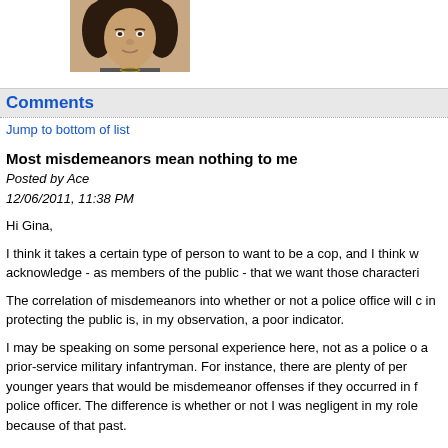[Figure (photo): Profile photo of a woman with curly dark hair]
Comments
Jump to bottom of list
Most misdemeanors mean nothing to me
Posted by Ace
12/06/2011, 11:38 PM
Hi Gina,
I think it takes a certain type of person to want to be a cop, and I think w acknowledge - as members of the public - that we want those characteri
The correlation of misdemeanors into whether or not a police office will c in protecting the public is, in my observation, a poor indicator.
I may be speaking on some personal experience here, not as a police o a prior-service military infantryman. For instance, there are plenty of per younger years that would be misdemeanor offenses if they occurred in f police officer. The difference is whether or not I was negligent in my role because of that past.
I mean, lets be realistic here... ever smoked pot? Ever grabbed somethi thought you "deserved" but didn't pay for? Ever toilet-papered a middle s teacher's tree, or spray painted a wall? Right. We're not perfect, and nei police officers.
Now, don't misunderstand me, I'm of the belief that most police get their